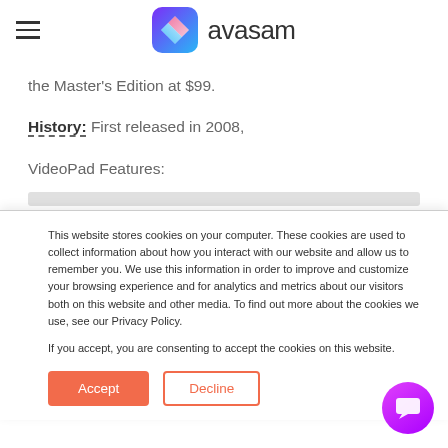avasam (logo)
the Master's Edition at $99.
History: First released in 2008,
VideoPad Features:
This website stores cookies on your computer. These cookies are used to collect information about how you interact with our website and allow us to remember you. We use this information in order to improve and customize your browsing experience and for analytics and metrics about our visitors both on this website and other media. To find out more about the cookies we use, see our Privacy Policy.
If you accept, you are consenting to accept the cookies on this website.